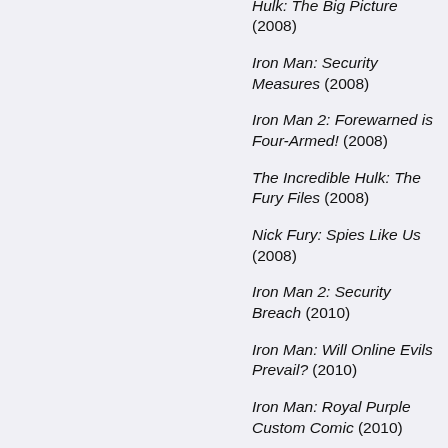Hulk: The Big Picture (2008)
Iron Man: Security Measures (2008)
Iron Man 2: Forewarned is Four-Armed! (2008)
The Incredible Hulk: The Fury Files (2008)
Nick Fury: Spies Like Us (2008)
Iron Man 2: Security Breach (2010)
Iron Man: Will Online Evils Prevail? (2010)
Iron Man: Royal Purple Custom Comic (2010)
Iron Man 2: Fist of Iron (2011)